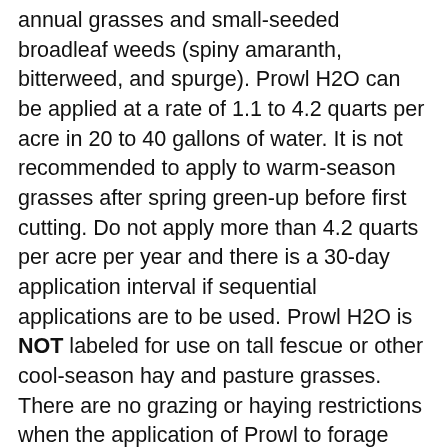annual grasses and small-seeded broadleaf weeds (spiny amaranth, bitterweed, and spurge). Prowl H2O can be applied at a rate of 1.1 to 4.2 quarts per acre in 20 to 40 gallons of water. It is not recommended to apply to warm-season grasses after spring green-up before first cutting. Do not apply more than 4.2 quarts per acre per year and there is a 30-day application interval if sequential applications are to be used. Prowl H2O is NOT labeled for use on tall fescue or other cool-season hay and pasture grasses. There are no grazing or haying restrictions when the application of Prowl to forage grasses. Rezilon should be applied at a rate of 3 to 5 ounces per acre in more than 15 gallons of water per acre. Do not exceed more than 5 ounces per acre in a single application. Do not apply more than 6 ounces of Rezilon per acre per year and sequential applications must be done 60 days apart. Do not seed any cool-season grasses in areas treated with Rezilon before a soil bioassay is done 18 months after the application.